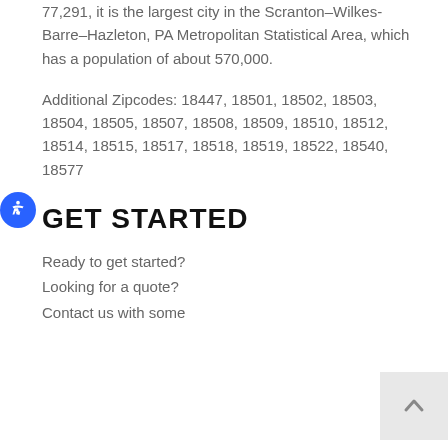With a population of 77,291, it is the largest city in the Scranton–Wilkes-Barre–Hazleton, PA Metropolitan Statistical Area, which has a population of about 570,000.
Additional Zipcodes: 18447, 18501, 18502, 18503, 18504, 18505, 18507, 18508, 18509, 18510, 18512, 18514, 18515, 18517, 18518, 18519, 18522, 18540, 18577
GET STARTED
Ready to get started? Looking for a quote? Contact us with some